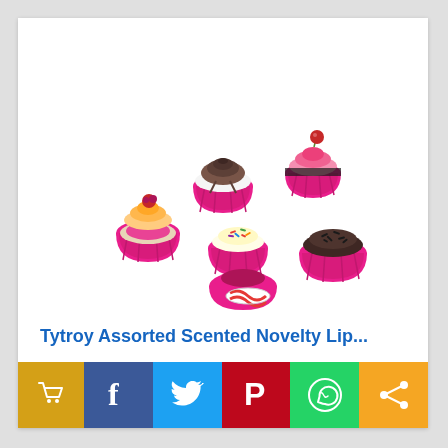[Figure (photo): Assorted cupcake-shaped scented novelty lip balms with pink silicone cups, some open showing pink lip balm inside, with various toppings including sprinkles, chocolate, cherry, and strawberry]
Tytroy Assorted Scented Novelty Lip...